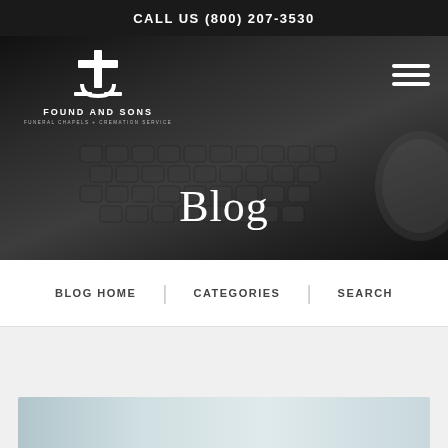CALL US (800) 207-3530
[Figure (logo): Found and Sons Funeral Chapels + Cremation Service logo with cross/anchor symbol in white on dark background]
Blog
BLOG HOME   CATEGORIES   SEARCH
[Figure (photo): Partial blog post image preview at the bottom of the page, showing a blurred light-colored background]